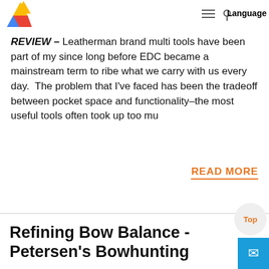Language
REVIEW – Leatherman brand multi tools have been part of my since long before EDC became a mainstream term to ribe what we carry with us every day. The problem that I've faced has been the tradeoff between pocket space and functionality–the most useful tools often took up too mu
READ MORE
Refining Bow Balance - Petersen's Bowhunting
by admin on 2022-05-14 20:33:46
Refining bow accuracy often comes down to making the shooting process smoother and more effortless. A well-balanced bow accentuates this feeling, by allowing the arch to focus all of his or her energy onto letting the sight pin floa